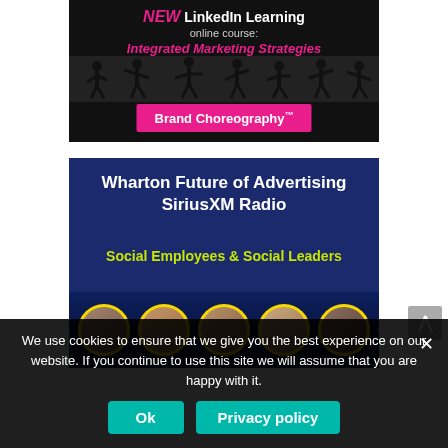[Figure (illustration): LinkedIn Learning online course advertisement: 'NEW LinkedIn Learning online course: Integrated Marketing Strategies – Brand Choreography™' with dancers silhouetted against a dark background and a pink 'Brand Choreography™' banner.]
[Figure (illustration): Wharton Future of Advertising SiriusXM Radio promotional image with text 'Wharton Future of Advertising SiriusXM Radio – Social Employees & Social Leaders' on dark blue background, with circular portrait photos of five speakers at the bottom with yellow borders and Flickr dot icons.]
We use cookies to ensure that we give you the best experience on our website. If you continue to use this site we will assume that you are happy with it.